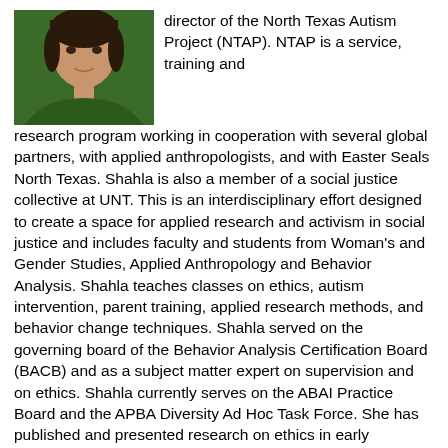[Figure (photo): Headshot photo of a woman wearing a dark green top, with short dark hair, against a light background. Cropped to show head and upper shoulders.]
director of the North Texas Autism Project (NTAP). NTAP is a service, training and research program working in cooperation with several global partners, with applied anthropologists, and with Easter Seals North Texas. Shahla is also a member of a social justice collective at UNT. This is an interdisciplinary effort designed to create a space for applied research and activism in social justice and includes faculty and students from Woman's and Gender Studies, Applied Anthropology and Behavior Analysis. Shahla teaches classes on ethics, autism intervention, parent training, applied research methods, and behavior change techniques. Shahla served on the governing board of the Behavior Analysis Certification Board (BACB) and as a subject matter expert on supervision and on ethics. Shahla currently serves on the ABAI Practice Board and the APBA Diversity Ad Hoc Task Force. She has published and presented research on ethics in early intervention, play and social skills, family harmony, change agent training, and evidence-based practice. Her research is applied and grounded in a commitment to love and science. She has trained hundreds of master's level behavior analysts who have gone on to serve families and communities with honor. Shahla has over four decades of experience working with families, particularly those from non-dominant cultural backgrounds. She travels and presents her work nationally and internationally to both